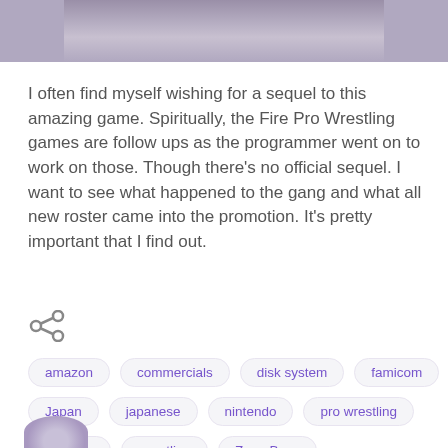[Figure (photo): Partial photo strip at top showing two people, cropped]
I often find myself wishing for a sequel to this amazing game. Spiritually, the Fire Pro Wrestling games are follow ups as the programmer went on to work on those. Though there's no official sequel. I want to see what happened to the gang and what all new roster came into the promotion. It's pretty important that I find out.
[Figure (infographic): Share icon (less-than symbol style share button)]
amazon
commercials
disk system
famicom
Japan
japanese
nintendo
pro wrestling
starman
wrestling
Zone Base
[Figure (photo): Partial avatar/profile photo visible at bottom left, cropped]